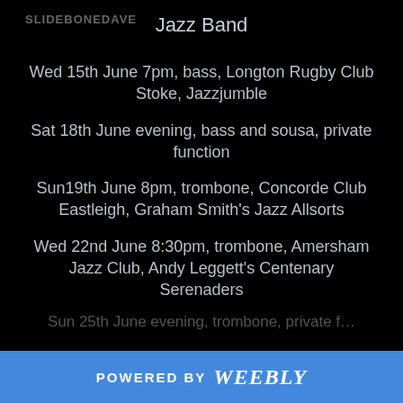SLIDEBONEDAVE
Jazz Band
Wed 15th June 7pm, bass, Longton Rugby Club Stoke, Jazzjumble
Sat 18th June evening, bass and sousa, private function
Sun19th June 8pm, trombone, Concorde Club Eastleigh, Graham Smith's Jazz Allsorts
Wed 22nd June 8:30pm, trombone, Amersham Jazz Club, Andy Leggett's Centenary Serenaders
POWERED BY weebly